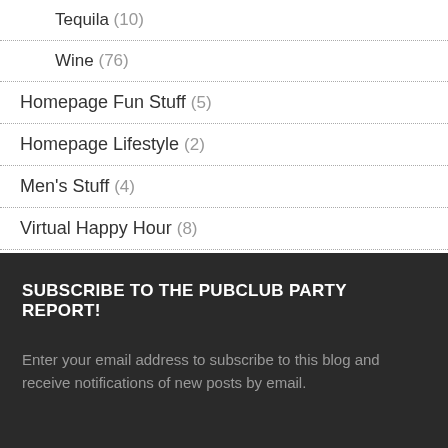Tequila (10)
Wine (76)
Homepage Fun Stuff (5)
Homepage Lifestyle (2)
Men's Stuff (4)
Virtual Happy Hour (8)
SUBSCRIBE TO THE PUBCLUB PARTY REPORT!
Enter your email address to subscribe to this blog and receive notifications of new posts by email.